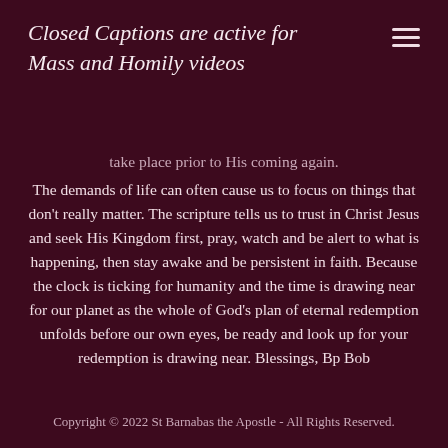Closed Captions are active for Mass and Homily videos
take place prior to His coming again. The demands of life can often cause us to focus on things that don't really matter. The scripture tells us to trust in Christ Jesus and seek His Kingdom first, pray, watch and be alert to what is happening, then stay awake and be persistent in faith. Because the clock is ticking for humanity and the time is drawing near for our planet as the whole of God's plan of eternal redemption unfolds before our own eyes, be ready and look up for your redemption is drawing near. Blessings, Bp Bob
Copyright © 2022 St Barnabas the Apostle - All Rights Reserved.